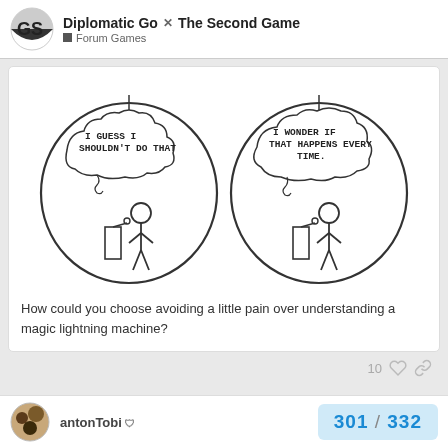Diplomatic Go / The Second Game — Forum Games
[Figure (illustration): XKCD-style comic with two circles. Left circle: arrow pointing to stick figure with thought bubble 'I GUESS I SHOULDN'T DO THAT'. Right circle: arrow pointing to stick figure with thought bubble 'I WONDER IF THAT HAPPENS EVERY TIME.']
How could you choose avoiding a little pain over understanding a magic lightning machine?
10
antonTobi
301 / 332